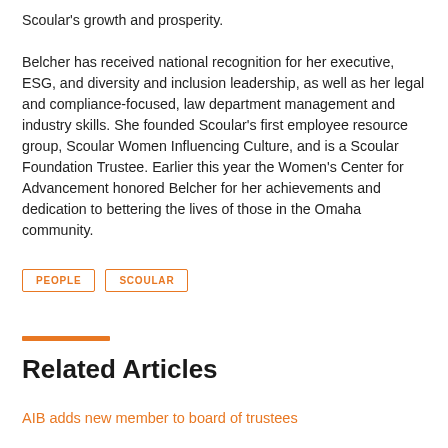Scoular's growth and prosperity. Belcher has received national recognition for her executive, ESG, and diversity and inclusion leadership, as well as her legal and compliance-focused, law department management and industry skills. She founded Scoular's first employee resource group, Scoular Women Influencing Culture, and is a Scoular Foundation Trustee. Earlier this year the Women's Center for Advancement honored Belcher for her achievements and dedication to bettering the lives of those in the Omaha community.
PEOPLE
SCOULAR
Related Articles
AIB adds new member to board of trustees